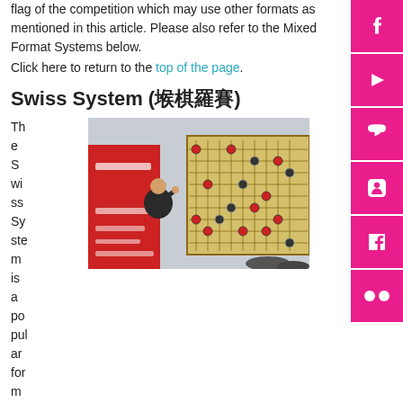flag of the competition which may use other formats as mentioned in this article. Please also refer to the Mixed Format Systems below.
Click here to return to the top of the page.
Swiss System (圍棋聯賽)
The Swiss System is a popular format th
[Figure (photo): A man stands in front of a large Chinese chess (Xiangqi) board outdoors, with a red banner in Chinese characters in the background.]
at is employed in many tournaments whereby there is time constraint